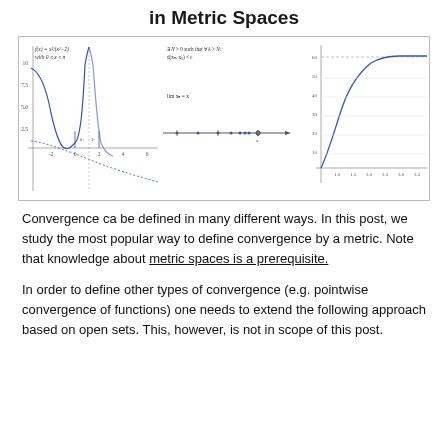in Metric Spaces
[Figure (continuous-plot): Three mathematical plots side by side: left shows a curve with function f(x) = x^2/(x^2-2) with a vertical asymptote; center shows a number line with limit notation (lim x_n = x); right shows a graph with a curve approaching a horizontal line, illustrating convergence in metric spaces.]
Convergence ca be defined in many different ways. In this post, we study the most popular way to define convergence by a metric. Note that knowledge about metric spaces is a prerequisite.
In order to define other types of convergence (e.g. pointwise convergence of functions) one needs to extend the following approach based on open sets. This, however, is not in scope of this post.